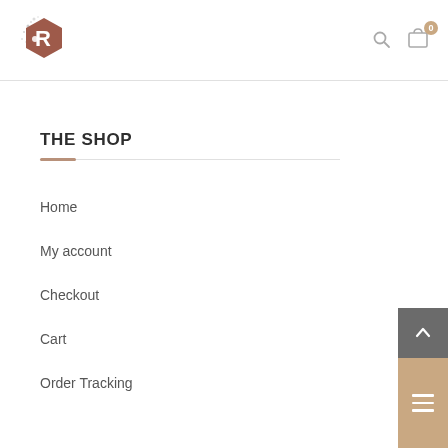[Figure (logo): Hexagonal logo with letter R and scattered dots, brownish-red color]
THE SHOP
Home
My account
Checkout
Cart
Order Tracking